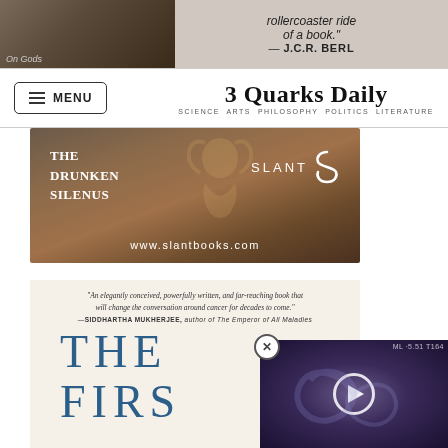[Figure (photo): Top banner ad showing a book cover with animal imagery and a quote 'rollercoaster ride of a book.']
3 Quarks Daily
SCIENCE ARTS PHILOSOPHY POLITICS LITERATURE
[Figure (photo): Advertisement for 'The Drunken Silenus' book from Slant Books (www.slantbooks.com), showing a dark wooden background with book and golden figure sculpture]
[Figure (photo): Book cover ad showing quote: 'An elegantly conceived, powerfully written, and far-reaching book that will change the conversation around cancer for decades to come.' —SIDDHARTHA MUKHERJEE, author of The Emperor of All Maladies. Title letters 'THE' and 'FIRS' visible in teal blue.]
[Figure (photo): Video overlay showing an ultrasound or swirling dark blue/purple fluid image with a white play button circle in the center and a label in the top right corner]